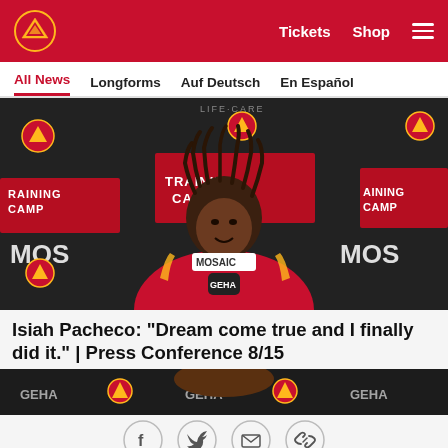Kansas City Chiefs — Tickets  Shop  Menu
All News  Longforms  Auf Deutsch  En Español
[Figure (photo): Kansas City Chiefs player Isiah Pacheco in red jersey at Training Camp press conference backdrop with MOSAIC and GEHA microphone logos]
Isiah Pacheco: "Dream come true and I finally did it." | Press Conference 8/15
[Figure (photo): Partial view of another player at a press conference with GEHA backdrop]
Social share icons: Facebook, Twitter, Email, Link